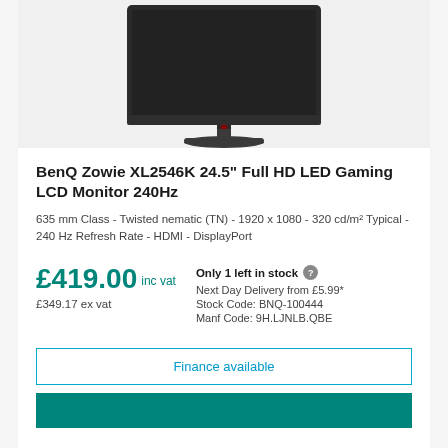[Figure (photo): BenQ Zowie XL2546K gaming monitor shown from the front, dark grey/black body with red accent on stand, viewed slightly from above against a light grey background.]
BenQ Zowie XL2546K 24.5" Full HD LED Gaming LCD Monitor 240Hz
635 mm Class - Twisted nematic (TN) - 1920 x 1080 - 320 cd/m² Typical - 240 Hz Refresh Rate - HDMI - DisplayPort
£419.00 inc vat
£349.17 ex vat
Only 1 left in stock
Next Day Delivery from £5.99*
Stock Code: BNQ-100444
Manf Code: 9H.LJNLB.QBE
Finance available